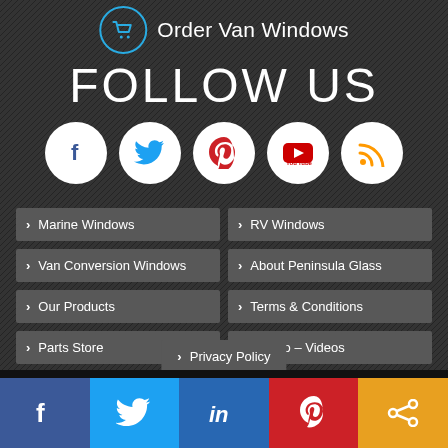Order Van Windows
FOLLOW US
[Figure (other): Five social media icons in white circles: Facebook (f), Twitter (bird), Pinterest (p), YouTube (play), RSS (signal)]
Marine Windows
RV Windows
Van Conversion Windows
About Peninsula Glass
Our Products
Terms & Conditions
Parts Store
How to – Videos
Privacy Policy
[Figure (other): Social share bar with five colored sections: Facebook (dark blue), Twitter (light blue), LinkedIn (medium blue), Pinterest (red), Share (orange)]